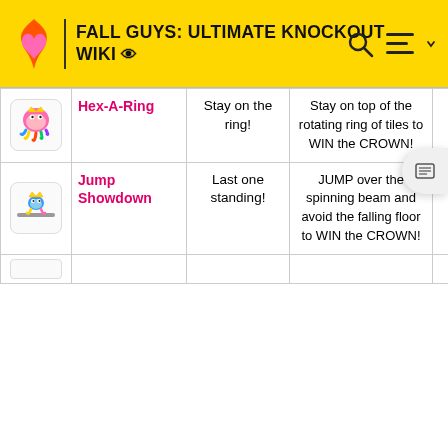FALL GUYS: ULTIMATE KNOCKOUT WIKI
|  | Name | Objective | Description | Players |
| --- | --- | --- | --- | --- |
| [img] | Hex-A-Ring | Stay on the ring! | Stay on top of the rotating ring of tiles to WIN the CROWN! | 2 - 16 |
| [img] | Jump Showdown | Last one standing! | JUMP over the spinning beam and avoid the falling floor to WIN the CROWN! | 2 - 12 |
| [img] | … | … | … | … |